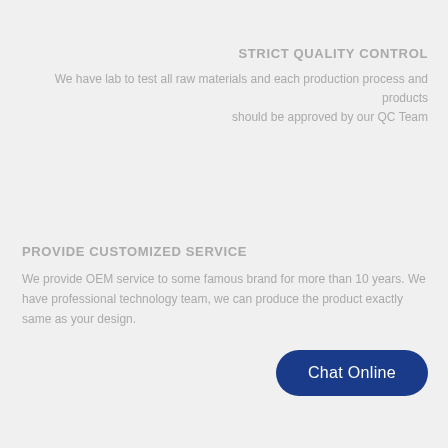STRICT QUALITY CONTROL
We have lab to test all raw materials and each production process and products should be approved by our QC Team
PROVIDE CUSTOMIZED SERVICE
We provide OEM service to some famous brand for more than 10 years. We have professional technology team, we can produce the product exactly same as your design.